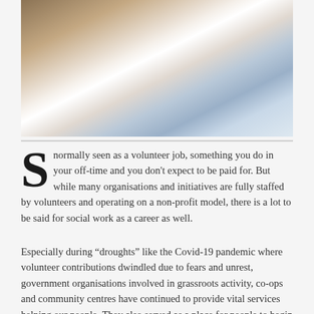[Figure (photo): A woman in a white coat pointing at a whiteboard or glass surface, with another person with long brown hair viewing from the left side.]
S normally seen as a volunteer job, something you do in your off-time and you don't expect to be paid for. But while many organisations and initiatives are fully staffed by volunteers and operating on a non-profit model, there is a lot to be said for social work as a career as well.
Especially during “droughts” like the Covid-19 pandemic where volunteer contributions dwindled due to fears and unrest, government organisations involved in grassroots activity, co-ops and community centres have continued to provide vital services helping our people. They also served as a place for people to begin their giving journeys, directing donors and volunteers to the appropriate channels and beneficiaries.